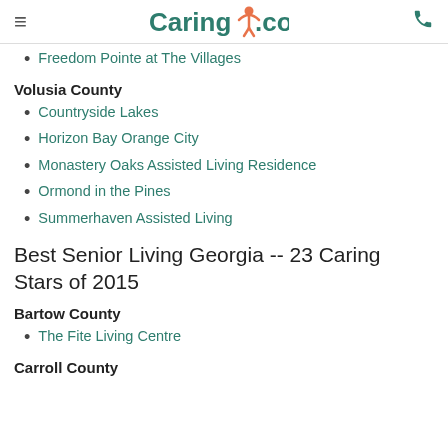Caring.com
Freedom Pointe at The Villages
Volusia County
Countryside Lakes
Horizon Bay Orange City
Monastery Oaks Assisted Living Residence
Ormond in the Pines
Summerhaven Assisted Living
Best Senior Living Georgia -- 23 Caring Stars of 2015
Bartow County
The Fite Living Centre
Carroll County